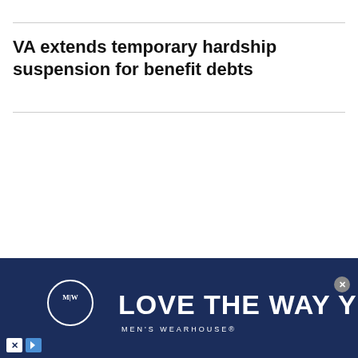VA extends temporary hardship suspension for benefit debts
[Figure (other): Men's Wearhouse advertisement banner with navy blue background, circular logo with M|W monogram, and tagline 'LOVE THE WAY YOU LOOK' with 'MEN'S WEARHOUSE' text below. Close button (X) in top right corner, ad controls (X and play button) in bottom left.]